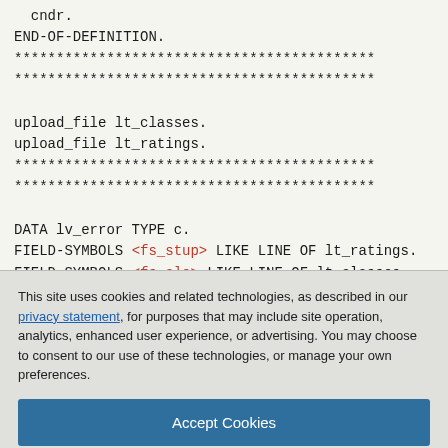cndr.
END-OF-DEFINITION.
******************************************
******************************************

upload_file lt_classes.
upload_file lt_ratings.
******************************************
******************************************

DATA lv_error TYPE c.
FIELD-SYMBOLS <fs_stup> LIKE LINE OF lt_ratings.
FIELD-SYMBOLS <fs_cls> LIKE LINE OF lt_classes.
This site uses cookies and related technologies, as described in our privacy statement, for purposes that may include site operation, analytics, enhanced user experience, or advertising. You may choose to consent to our use of these technologies, or manage your own preferences.
Accept Cookies
More Information
Privacy Policy | Powered by: TrustArc
APPEND ls_line TO <fs_cls>-values.